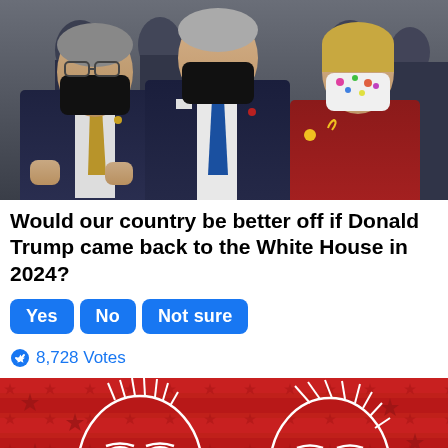[Figure (photo): Three politicians wearing face masks walking in a hallway: an older man in a navy suit with golden tie (left), a tall man in navy suit with blue tie (center), and a woman in a red jacket with floral mask (right), with several people in masks visible in the background.]
Would our country be better off if Donald Trump came back to the White House in 2024?
Yes   No   Not sure
8,728 Votes
[Figure (illustration): Red background with white star pattern (American flag style). Two white line-art illustrated portrait faces on red background — one person on the left and one on the right.]